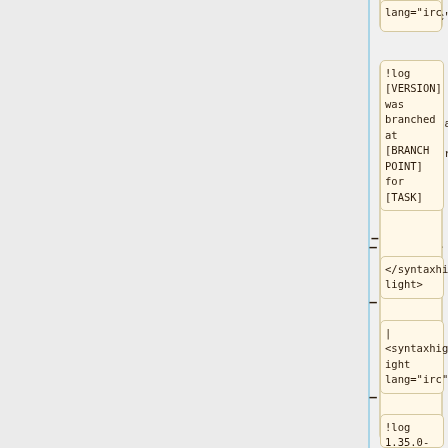lang="irc">
!log [VERSION] was branched at [BRANCH POINT] for [TASK]
</syntaxhighlight>
| <syntaxhighlight lang="irc">
!log 1.35.0-wmf.14 was branched at fb16374c5bdb9d14729f358f